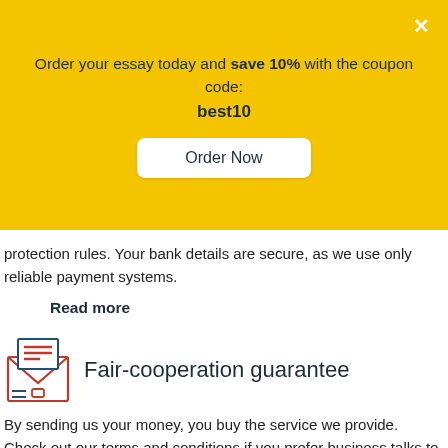Order your essay today and save 10% with the coupon code: best10
Order Now
protection rules. Your bank details are secure, as we use only reliable payment systems.
Read more
[Figure (illustration): Envelope icon with letter/document lines in red and teal outline style]
Fair-cooperation guarantee
By sending us your money, you buy the service we provide. Check out our terms and conditions if you prefer business talks to be laid out in official language.
Chat
Read more